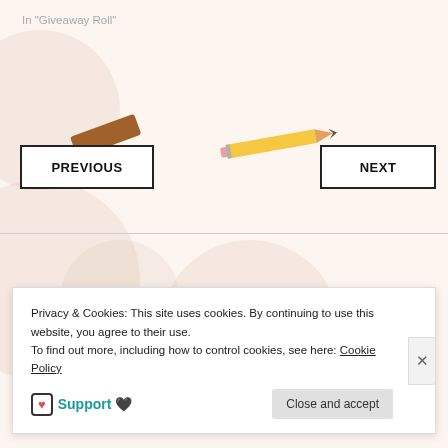In "Giveaway Roll"
[Figure (illustration): Decorative background with faint circular shapes and two floating pencil/eraser illustrations on a light peachy background]
PREVIOUS
NEXT
Privacy & Cookies: This site uses cookies. By continuing to use this website, you agree to their use.
To find out more, including how to control cookies, see here: Cookie Policy
Support 🖤
Close and accept